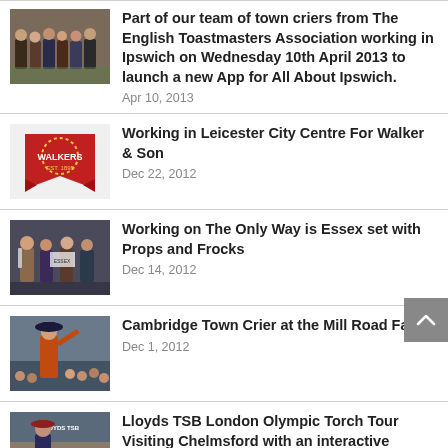[Figure (photo): Group of people in town crier costumes, team from English Toastmasters Association]
Part of our team of town criers from The English Toastmasters Association working in Ipswich on Wednesday 10th April 2013 to launch a new App for All About Ipswich.
Apr 10, 2013
[Figure (logo): Walkers red banner/ribbon logo]
Working in Leicester City Centre For Walker & Son
Dec 22, 2012
[Figure (photo): People working on set, possibly in costume]
Working on The Only Way is Essex set with Props and Frocks
Dec 14, 2012
[Figure (photo): Person in town crier costume at Mill Road Fair, Cambridge]
Cambridge Town Crier at the Mill Road Fair
Dec 1, 2012
[Figure (photo): Person at Lloyds TSB London Olympic Torch Tour event in Chelmsford]
Lloyds TSB London Olympic Torch Tour Visiting Chelmsford with an interactive exhibition